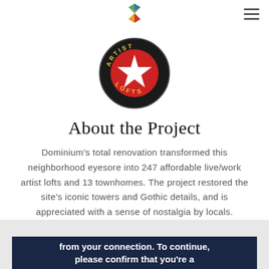[Figure (logo): Colorful pinwheel/diamond logo for site navigation header]
[Figure (logo): Artist Lofts circular logo: black circle with red star and gold text 'ARTIST LOFTS']
About the Project
Dominium's total renovation transformed this neighborhood eyesore into 247 affordable live/work artist lofts and 13 townhomes. The project restored the site's iconic towers and Gothic details, and is appreciated with a sense of nostalgia by locals.
from your connection. To continue, please confirm that you're a